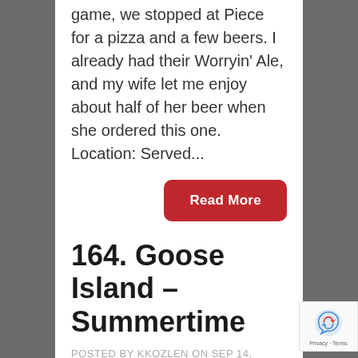game, we stopped at Piece for a pizza and a few beers.  I already had their Worryin' Ale, and my wife let me enjoy about half of her beer when she ordered this one. Location: Served...
Read More
164. Goose Island – Summertime
POSTED BY KKOZLEN ON SEP 14, 2010
We had our ABNormal Brewers homebrew club meeting tonight